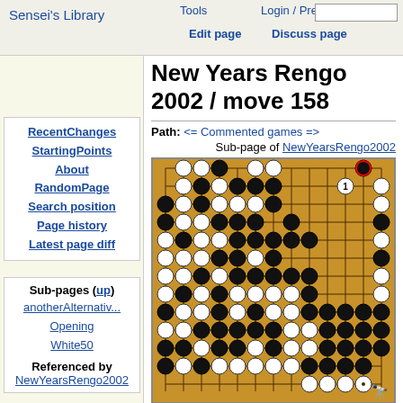Sensei's Library | Tools | Login / Prefs | Edit page | Discuss page
New Years Rengo 2002 / move 158
Path: <= Commented games =>
Sub-page of NewYearsRengo2002
[Figure (other): Go board (goban) showing a game position from New Years Rengo 2002 move 158. Black and white stones arranged on a 19x19 grid. A red circle marks a black stone near the top right. A white stone labeled '1' is to its left. A small black square (binoculars icon) appears below the board.]
Black just played the marked stone. If White answers with 1 then the sequence
RecentChanges
StartingPoints
About
RandomPage
Search position
Page history
Latest page diff
Sub-pages (up)
anotherAlternativ...
Opening
White50
Referenced by
NewYearsRengo2002
Partner sites:
Go Teaching Ladder
Goproblems.com